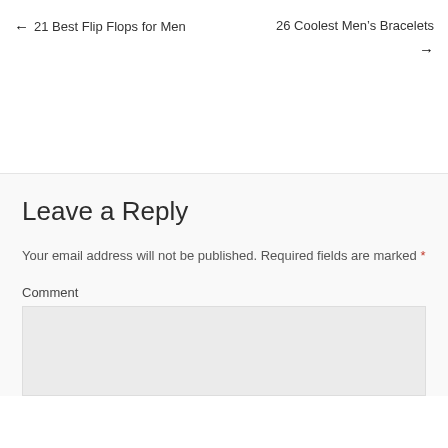← 21 Best Flip Flops for Men    26 Coolest Men's Bracelets →
Leave a Reply
Your email address will not be published. Required fields are marked *
Comment